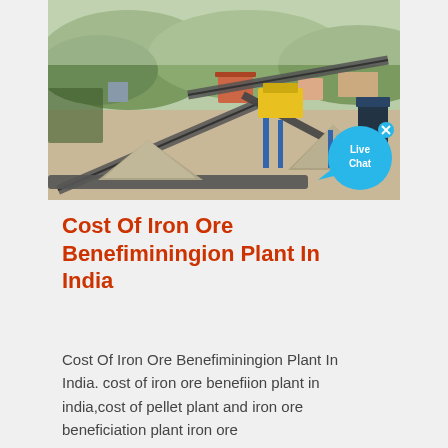[Figure (photo): Aerial view of an iron ore beneficiation / mining plant in India showing conveyor belts, aggregate piles, industrial machinery, and buildings against a mountainous background. A 'Live Chat' bubble overlay is visible in the bottom-right corner of the image.]
Cost Of Iron Ore Benefiminingion Plant In India
Cost Of Iron Ore Benefiminingion Plant In India. cost of iron ore benefiion plant in india,cost of pellet plant and iron ore beneficiation plant iron ore